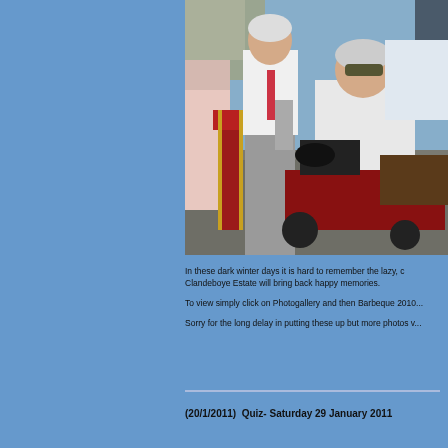[Figure (photo): Outdoor photo showing people at an event, one person seated on a mobility scooter wearing sunglasses and a light-colored top, another person standing in grey trousers and white shirt, with a red banquet chair visible. Background shows gravel and stone wall.]
In these dark winter days it is hard to remember the lazy, c... Clandeboye Estate will bring back happy memories.
To view simply click on Photogallery and then Barbeque 2010...
Sorry for the long delay in putting these up but more photos w...
(20/1/2011)  Quiz- Saturday 29 January 2011